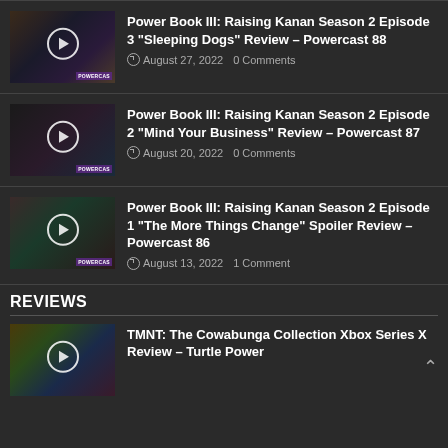Power Book III: Raising Kanan Season 2 Episode 3 "Sleeping Dogs" Review – Powercast 88
August 27, 2022  0 Comments
Power Book III: Raising Kanan Season 2 Episode 2 "Mind Your Business" Review – Powercast 87
August 20, 2022  0 Comments
Power Book III: Raising Kanan Season 2 Episode 1 "The More Things Change" Spoiler Review – Powercast 86
August 13, 2022  1 Comment
REVIEWS
TMNT: The Cowabunga Collection Xbox Series X Review – Turtle Power